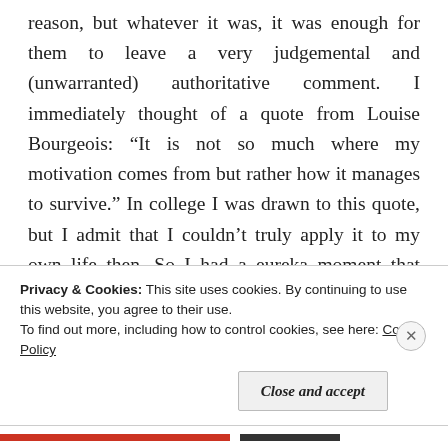reason, but whatever it was, it was enough for them to leave a very judgemental and (unwarranted) authoritative comment. I immediately thought of a quote from Louise Bourgeois: “It is not so much where my motivation comes from but rather how it manages to survive.” In college I was drawn to this quote, but I admit that I couldn’t truly apply it to my own life then. So I had a eureka moment that morning. I immediately began to feel what all writers in the industry must feel: sharp and sometimes unjust criticism, hate, or simply bad
Privacy & Cookies: This site uses cookies. By continuing to use this website, you agree to their use.
To find out more, including how to control cookies, see here: Cookie Policy
Close and accept